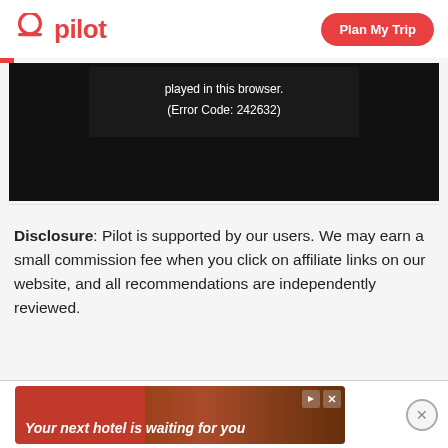pilot | Plan My Trip
[Figure (screenshot): Video player showing error message: 'played in this browser. (Error Code: 242632)' on black background]
Disclosure: Pilot is supported by our users. We may earn a small commission fee when you click on affiliate links on our website, and all recommendations are independently reviewed.
[Figure (screenshot): Advertisement banner: 'Your next hotel is waiting for you' with hotel image on red background]